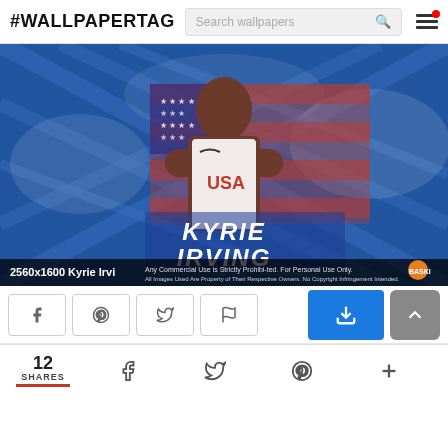#WALLPAPERTAG
[Figure (photo): Kyrie Irving USA Basketball wallpaper, 2560x1600. Player wearing white USA jersey with arms crossed against blue geometric background with American flag.]
2560x1600 Kyrie Irvi
12 SHARES